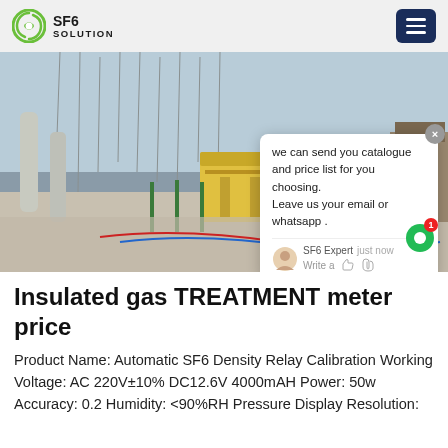SF6 SOLUTION
[Figure (photo): Outdoor electrical substation with high-voltage equipment, insulators, and a yellow container/cabinet. A chat popup overlay is visible in the lower-right area of the image.]
Insulated gas TREATMENT meter price
Product Name: Automatic SF6 Density Relay Calibration Working Voltage: AC 220V±10% DC12.6V 4000mAH Power: 50w Accuracy: 0.2 Humidity: <90%RH Pressure Display Resolution: